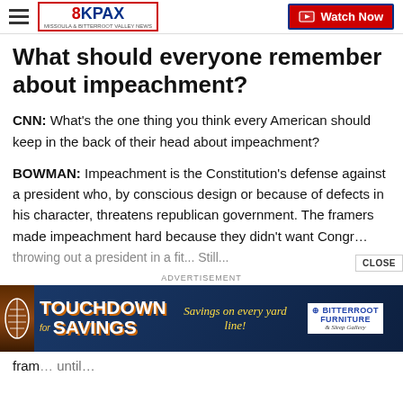8KPAX | Watch Now
What should everyone remember about impeachment?
CNN: What's the one thing you think every American should keep in the back of their head about impeachment?
BOWMAN: Impeachment is the Constitution's defense against a president who, by conscious design or because of defects in his character, threatens republican government. The framers made impeachment hard because they didn't want Congress throwing out a president in a fit...
[Figure (screenshot): Touchdown Savings advertisement banner with football imagery and Bitterroot Furniture & Sleep Gallery logo]